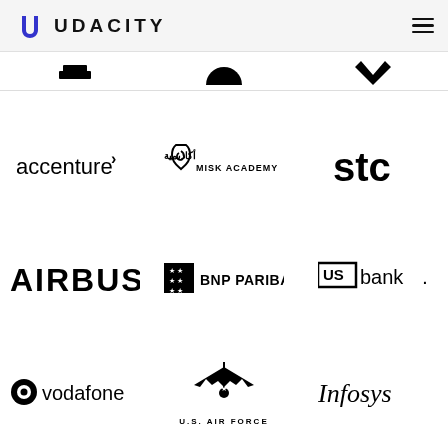UDACITY
[Figure (logo): Partial logos strip at top (partially visible)]
[Figure (logo): accenture logo]
[Figure (logo): Misk Academy logo with Arabic text and shield icon]
[Figure (logo): stc logo]
[Figure (logo): AIRBUS logo]
[Figure (logo): BNP PARIBAS logo]
[Figure (logo): US bank logo]
[Figure (logo): vodafone logo]
[Figure (logo): U.S. AIR FORCE logo with eagle wings]
[Figure (logo): Infosys logo]